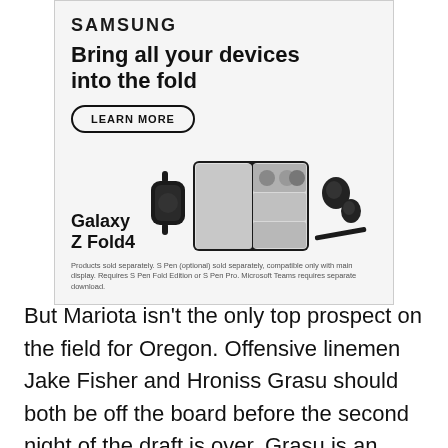[Figure (other): Samsung advertisement for Galaxy Z Fold4. Contains Samsung logo, headline 'Bring all your devices into the fold', a 'LEARN MORE' button, product name 'Galaxy Z Fold4', and images of a smartwatch, foldable phone, earbuds, and S Pen.]
Products sold separately. S Pen (optional) sold separately, compatible only with main display. Requires S Pen Fold Edition or S Pen Pro. Microsoft Teams requires separate download.
But Mariota isn't the only top prospect on the field for Oregon. Offensive linemen Jake Fisher and Hroniss Grasu should both be off the board before the second night of the draft is over. Grasu is an athletic center with good length and great initial quickness. He's agile and shows good balance moving in space in the Ducks' ridiculously paced spread offense. Grasu is in